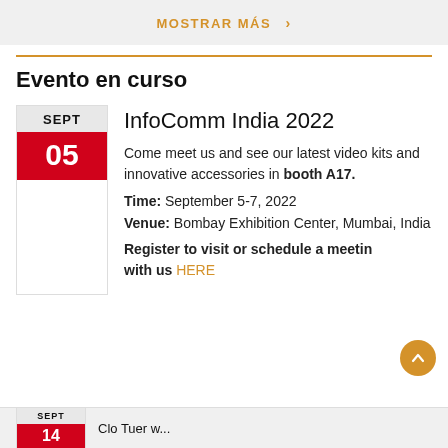MOSTRAR MÁS >
Evento en curso
InfoComm India 2022
Come meet us and see our latest video kits and innovative accessories in booth A17. Time: September 5-7, 2022 Venue: Bombay Exhibition Center, Mumbai, India Register to visit or schedule a meeting with us HERE